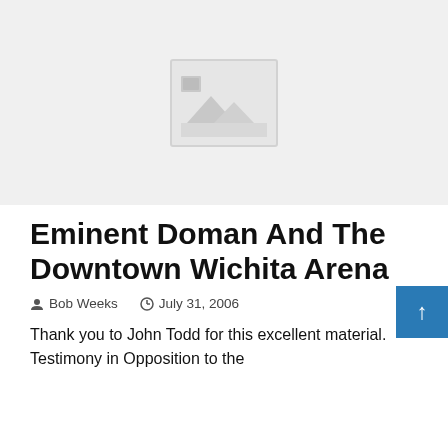[Figure (photo): Placeholder image area with a gray background and a generic image placeholder icon in the center]
Eminent Doman And The Downtown Wichita Arena
Bob Weeks   July 31, 2006
Thank you to John Todd for this excellent material. Testimony in Opposition to the